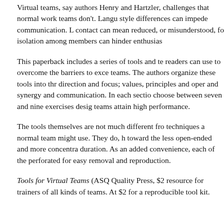Virtual teams, say authors Henry and Hartzler, face challenges that normal work teams don't. Language and style differences can impede communication. Lack of contact can mean reduced, or misunderstood, feedback. And isolation among members can hinder enthusiasm.
This paperback includes a series of tools and techniques readers can use to overcome the barriers to excellent virtual teams. The authors organize these tools into three sections: direction and focus; values, principles and operating norms; and synergy and communication. In each section, readers can choose between seven and nine exercises designed to help virtual teams attain high performance.
The tools themselves are not much different from techniques a normal team might use. They do, however, lean toward the less open-ended and more concentrated in duration. As an added convenience, each of the tools is perforated for easy removal and reproduction.
Tools for Virtual Teams (ASQ Quality Press, $2...) is a resource for trainers of all kinds of teams. At $2... it is a steal for a reproducible tool kit.